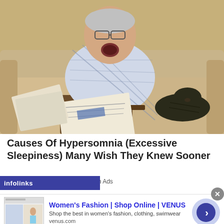[Figure (photo): An older man in a plaid shirt sitting on a beige sofa, yawning with his head tilted back, holding a newspaper. A dark cat is resting beside him on the sofa.]
Causes Of Hypersomnia (Excessive Sleepiness) Many Wish They Knew Sooner
infolinks   a | Search Ads
[Figure (screenshot): Advertisement banner for Women's Fashion | Shop Online | VENUS. Shows a thumbnail of the Venus website with a woman in swimwear. Ad text: 'Shop the best in women's fashion, clothing, swimwear' and URL 'venus.com'. Arrow button on the right.]